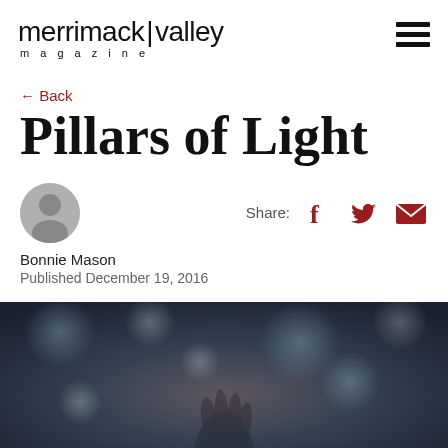merrimack|valley magazine
← Back
Pillars of Light
Share:
Bonnie Mason
Published December 19, 2016
[Figure (photo): Dark bokeh background photo showing a hand, likely candlelight scene]